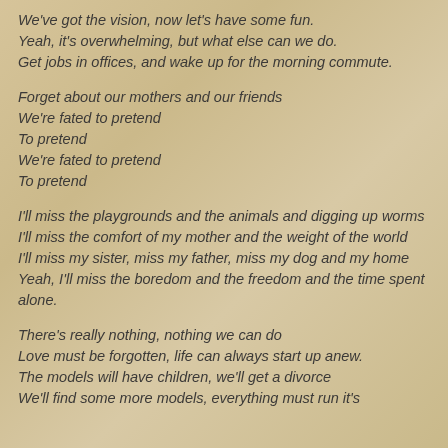We've got the vision, now let's have some fun.
Yeah, it's overwhelming, but what else can we do.
Get jobs in offices, and wake up for the morning commute.
Forget about our mothers and our friends
We're fated to pretend
To pretend
We're fated to pretend
To pretend
I'll miss the playgrounds and the animals and digging up worms
I'll miss the comfort of my mother and the weight of the world
I'll miss my sister, miss my father, miss my dog and my home
Yeah, I'll miss the boredom and the freedom and the time spent alone.
There's really nothing, nothing we can do
Love must be forgotten, life can always start up anew.
The models will have children, we'll get a divorce
We'll find some more models, everything must run it's